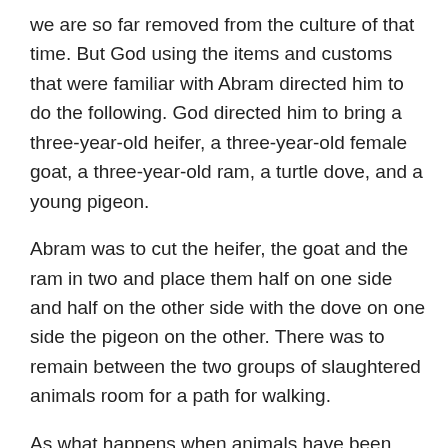we are so far removed from the culture of that time. But God using the items and customs that were familiar with Abram directed him to do the following. God directed him to bring a three-year-old heifer, a three-year-old female goat, a three-year-old ram, a turtle dove, and a young pigeon.
Abram was to cut the heifer, the goat and the ram in two and place them half on one side and half on the other side with the dove on one side the pigeon on the other. There was to remain between the two groups of slaughtered animals room for a path for walking.
As what happens when animals have been killed Abram had to shew the vultures away and as the sun was setting Abram fell in a deep sleep. A great and awful darkness surrounded him.